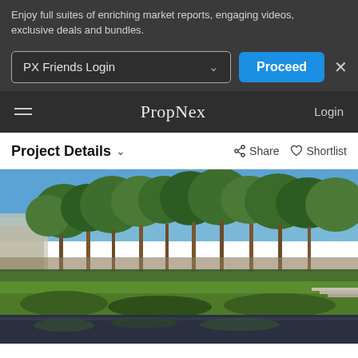Enjoy full suites of enriching market reports, engaging videos, exclusive deals and bundles.
[Figure (screenshot): PX Friends Login dropdown and Proceed button UI]
PropNex   Login
Project Details   Share   Shortlist
[Figure (photo): Outdoor garden area of a residential property with tall trees, green lawn, hedges, and a reflective pool in the foreground, photographed from an elevated perspective under a clear blue sky.]